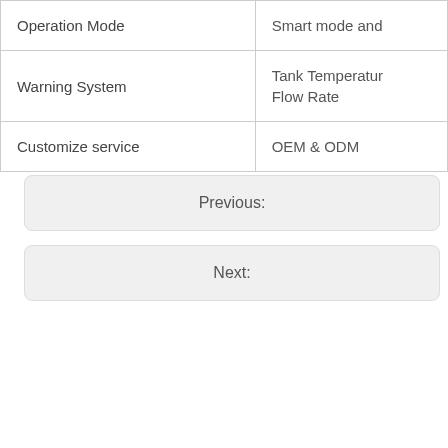| Operation Mode | Smart mode and |
| Warning System | Tank Temperatur…
Flow Rate |
| Customize service | OEM & ODM |
Previous:
Next: